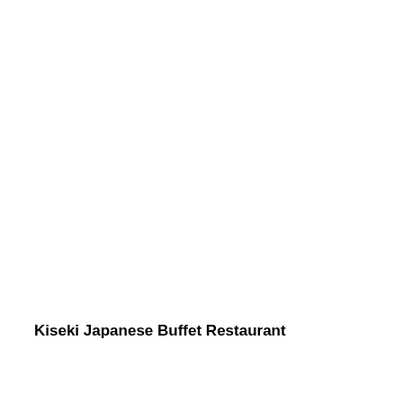Kiseki Japanese Buffet Restaurant